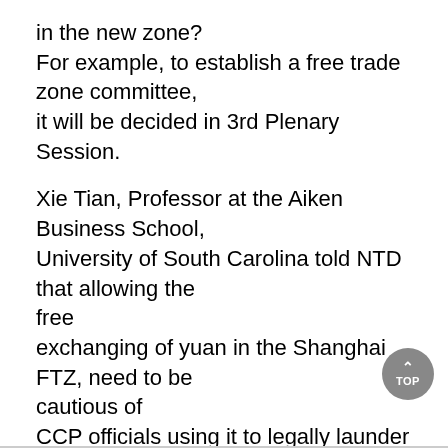in the new zone? For example, to establish a free trade zone committee, it will be decided in 3rd Plenary Session.
Xie Tian, Professor at the Aiken Business School, University of South Carolina told NTD that allowing the free exchanging of yuan in the Shanghai FTZ, need to be cautious of CCP officials using it to legally launder money. If funds outflow on a large-scale, it will inevitably bring the yuan related assets price down. China's stock market, bond market, and the housing market will therefore collapse.